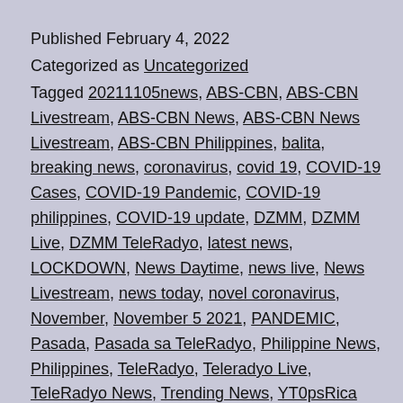Published February 4, 2022
Categorized as Uncategorized
Tagged 20211105news, ABS-CBN, ABS-CBN Livestream, ABS-CBN News, ABS-CBN News Livestream, ABS-CBN Philippines, balita, breaking news, coronavirus, covid 19, COVID-19 Cases, COVID-19 Pandemic, COVID-19 philippines, COVID-19 update, DZMM, DZMM Live, DZMM TeleRadyo, latest news, LOCKDOWN, News Daytime, news live, News Livestream, news today, novel coronavirus, November, November 5 2021, PANDEMIC, Pasada, Pasada sa TeleRadyo, Philippine News, Philippines, TeleRadyo, Teleradyo Live, TeleRadyo News, Trending News, YT0psRica